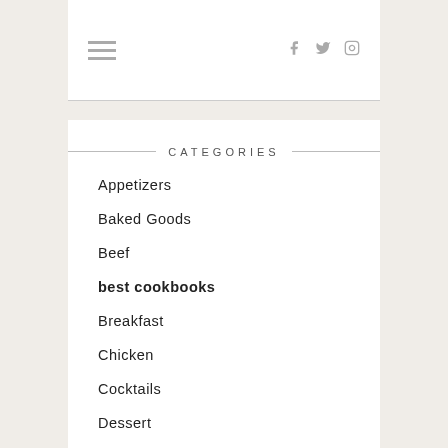☰  f  🐦  📷
CATEGORIES
Appetizers
Baked Goods
Beef
best cookbooks
Breakfast
Chicken
Cocktails
Dessert
Dinner
Easter
Everyday Dinners
Fall
Favorite Pasta…